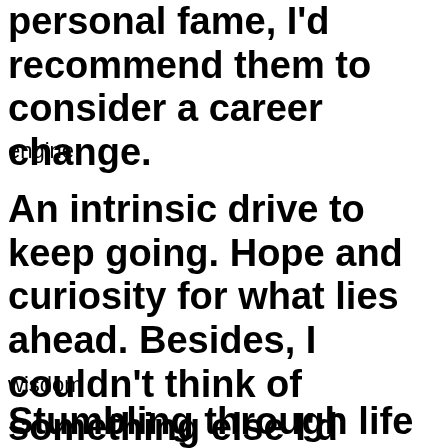personal fame, I'd recommend them to consider a career change.
engine
An intrinsic drive to keep going. Hope and curiosity for what lies ahead. Besides, I couldn't think of something else I'd rather do.
wisdom
Stumbling through life and picking not only yourself up along the way.